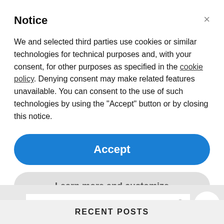Notice
We and selected third parties use cookies or similar technologies for technical purposes and, with your consent, for other purposes as specified in the cookie policy. Denying consent may make related features unavailable. You can consent to the use of such technologies by using the "Accept" button or by closing this notice.
Accept
Learn more and customize
Search Here
RECENT POSTS